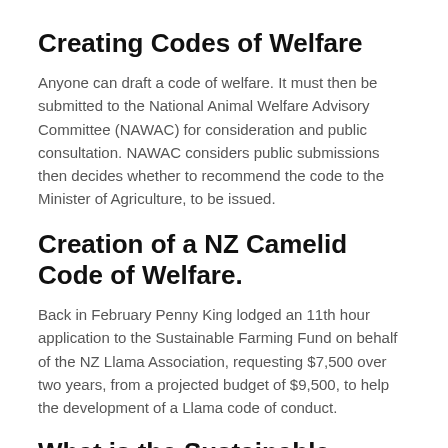Creating Codes of Welfare
Anyone can draft a code of welfare. It must then be submitted to the National Animal Welfare Advisory Committee (NAWAC) for consideration and public consultation. NAWAC considers public submissions then decides whether to recommend the code to the Minister of Agriculture, to be issued.
Creation of a NZ Camelid Code of Welfare.
Back in February Penny King lodged an 11th hour application to the Sustainable Farming Fund on behalf of the NZ Llama Association, requesting $7,500 over two years, from a projected budget of $9,500, to help the development of a Llama code of conduct.
What is the Sustainable Farming Fund?